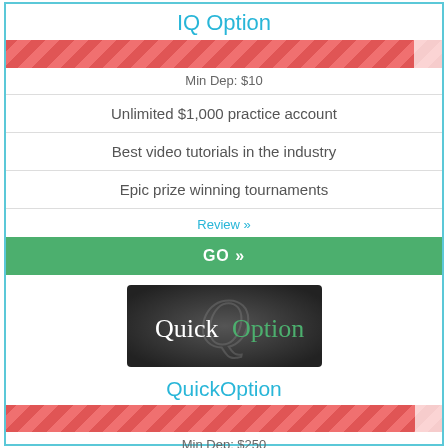IQ Option
[Figure (infographic): Red diagonal stripe bar with white corner overlay (rating/score bar)]
Min Dep: $10
Unlimited $1,000 practice account
Best video tutorials in the industry
Epic prize winning tournaments
Review »
GO »
[Figure (logo): QuickOption logo on dark background with large Q symbol]
QuickOption
[Figure (infographic): Red diagonal stripe bar with white corner overlay (rating/score bar)]
Min Dep: $250